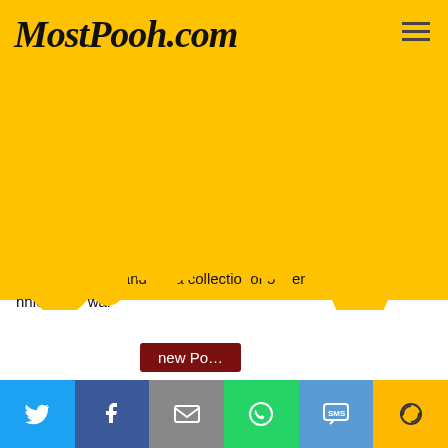MostPooh.com
[Figure (illustration): Yellow honey dripping effect header image with partially visible text behind drips reading: '...with... and ...s a collection...of 5...er... ...nnie t... Po... wal...']
new Po...
Thank you Jeff and Debbie for "remembering" me!
Posted on Wed Oct 31st, 2012 at 10:35 am
Jeff and Debbie have joined the ranks of "broken" - which is just Poohfect!
[Figure (infographic): Social share bar with Twitter, Facebook, Email, WhatsApp, SMS, and Share360 buttons]